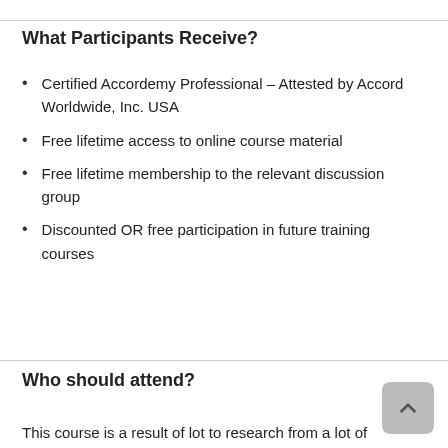What Participants Receive?
Certified Accordemy Professional – Attested by Accord Worldwide, Inc. USA
Free lifetime access to online course material
Free lifetime membership to the relevant discussion group
Discounted OR free participation in future training courses
Who should attend?
This course is a result of lot to research from a lot of...